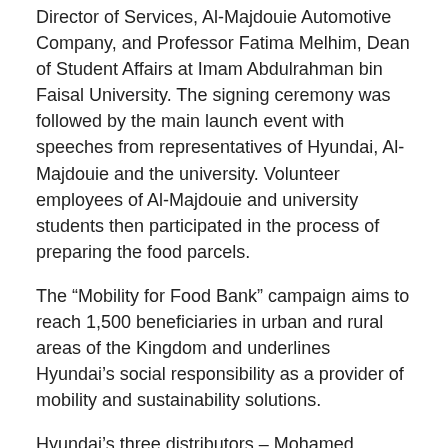Director of Services, Al-Majdouie Automotive Company, and Professor Fatima Melhim, Dean of Student Affairs at Imam Abdulrahman bin Faisal University. The signing ceremony was followed by the main launch event with speeches from representatives of Hyundai, Al-Majdouie and the university. Volunteer employees of Al-Majdouie and university students then participated in the process of preparing the food parcels.
The “Mobility for Food Bank” campaign aims to reach 1,500 beneficiaries in urban and rural areas of the Kingdom and underlines Hyundai’s social responsibility as a provider of mobility and sustainability solutions.
Hyundai’s three distributors – Mohamed Yousuf Naghi Motors Company, Al-Wallan Trading Company and Almajdouie Automotive Company – are participating, along with student volunteers from Dar Al-Hekma University and Imam Abdulrahman bin Faisal University.
Three Hyundai Staria vans are used to transport volunteers and